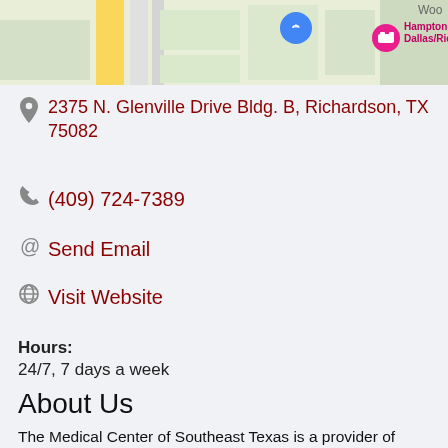[Figure (map): Google Maps strip showing location near 2375 N. Glenville Drive, Richardson TX. Shows map with yellow road, blue location pin, and Hampton Inn & Suites Dallas/Richardson marker.]
2375 N. Glenville Drive Bldg. B, Richardson, TX 75082
(409) 724-7389
Send Email
Visit Website
Hours:
24/7, 7 days a week
About Us
The Medical Center of Southeast Texas is a provider of leading-edge, quality healthcare services in a family-friendly environment. With two locations serving the Southeast Texas region, we are never far from